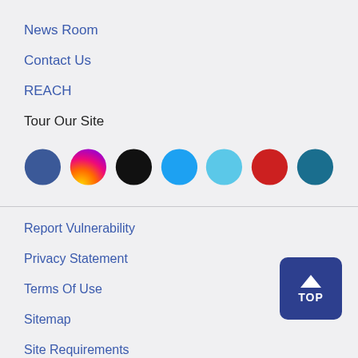News Room
Contact Us
REACH
Tour Our Site
[Figure (illustration): Seven social media / platform icon circles in a row: Facebook (blue), Instagram (gradient), X/Twitter (black), Twitter (sky blue), a light blue circle, YouTube (red), and a teal circle.]
Report Vulnerability
Privacy Statement
Terms Of Use
Sitemap
Site Requirements